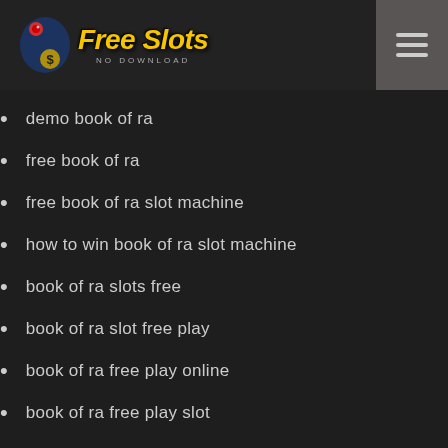Free Slots NO DOWNLOAD
demo book of ra
free book of ra
free book of ra slot machine
how to win book of ra slot machine
book of ra slots free
book of ra slot free play
book of ra free play online
book of ra free play slot
play book of ra slot machine